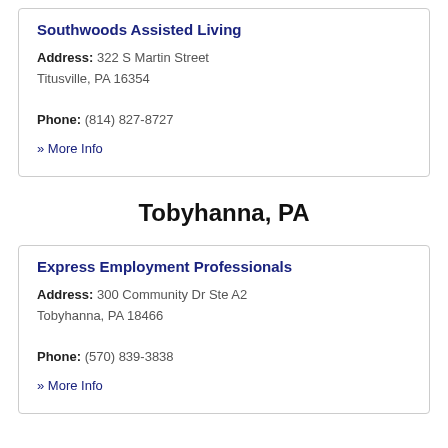Southwoods Assisted Living
Address: 322 S Martin Street Titusville, PA 16354
Phone: (814) 827-8727
» More Info
Tobyhanna, PA
Express Employment Professionals
Address: 300 Community Dr Ste A2 Tobyhanna, PA 18466
Phone: (570) 839-3838
» More Info